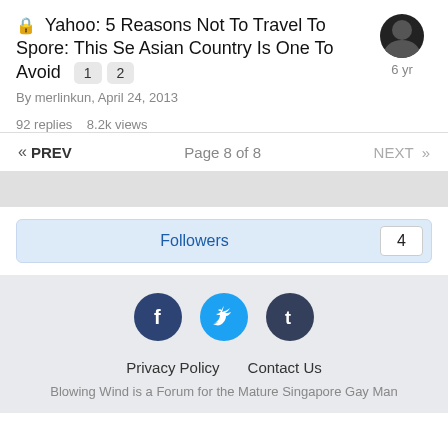Yahoo: 5 Reasons Not To Travel To Spore: This Se Asian Country Is One To Avoid  1  2
By merlinkun, April 24, 2013
92 replies   8.2k views
« PREV   Page 8 of 8   NEXT »
Followers  4
[Figure (infographic): Social media icons: Facebook (dark blue circle with f), Twitter (light blue circle with bird), Tumblr (dark navy circle with t)]
Privacy Policy   Contact Us
Blowing Wind is a Forum for the Mature Singapore Gay Man